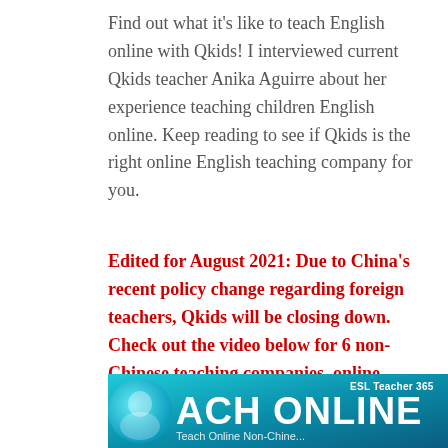Find out what it's like to teach English online with Qkids! I interviewed current Qkids teacher Anika Aguirre about her experience teaching children English online. Keep reading to see if Qkids is the right online English teaching company for you.
Edited for August 2021: Due to China's recent policy change regarding foreign teachers, Qkids will be closing down. Check out the video below for 6 non-Chinese teaching companies, online teaching marketplace options & online freelance teaching tips.
[Figure (photo): Banner image for a video about teaching English online non-Chinese companies. Shows large white text 'ACH ONLINE' on a teal/blue gradient background with 'ESL Teacher 365' branding in the top right corner and 'Teach Online Non-Chine...' subtitle text.]